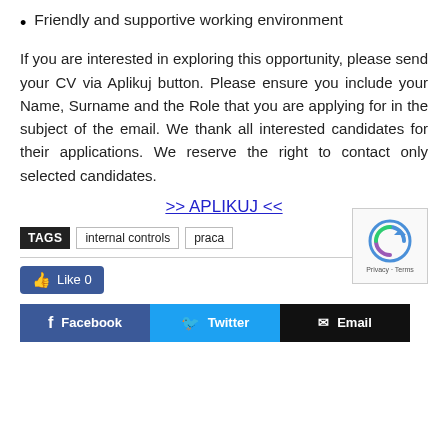Friendly and supportive working environment
If you are interested in exploring this opportunity, please send your CV via Aplikuj button. Please ensure you include your Name, Surname and the Role that you are applying for in the subject of the email. We thank all interested candidates for their applications. We reserve the right to contact only selected candidates.
>> APLIKUJ <<
TAGS  internal controls  praca
[Figure (other): Social share section with Like button (Like 0), Facebook, Twitter, and Email sharing buttons, and a reCAPTCHA widget in the bottom right corner.]